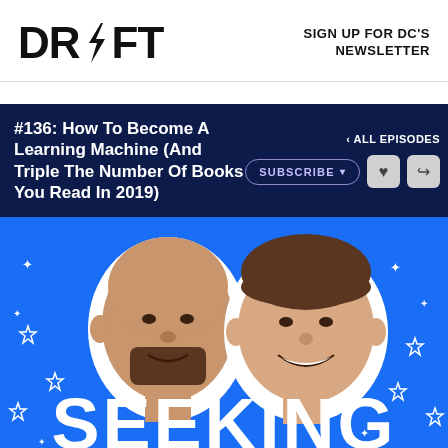[Figure (logo): DRIFT logo with lightning bolt replacing the 'I']
SIGN UP FOR DC'S NEWSLETTER
#136: How To Become A Learning Machine (And Triple The Number Of Books You Read In 2019)
< ALL EPISODES
SUBSCRIBE
[Figure (photo): Two men's faces cut out on a bright blue background with white stars and the word SEEKING at the bottom. Left person is a bald man with a beard, right person is a younger man smiling.]